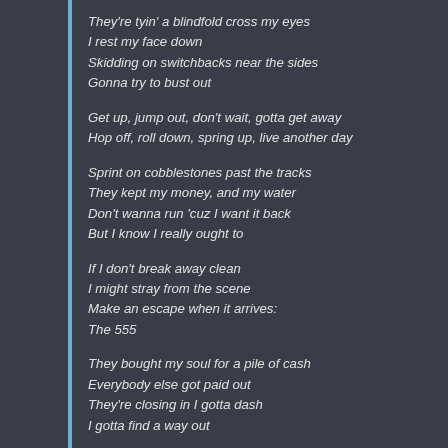They're tyin' a blindfold cross my eyes
I rest my face down
Skidding on switchbacks near the sides
Gonna try to bust out
Get up, jump out, don't wait, gotta get away
Hop off, roll down, spring up, live another day
Sprint on cobblestones past the tracks
They kept my money, and my water
Don't wanna run 'cuz I want it back
But I know I really ought to
If I don't break away clean
I might stray from the scene
Make an escape when it arrives:
The 555
They bought my soul for a pile of cash
Everybody else got paid out
They're closing in I gotta dash
I gotta find a way out
Hop off, roll down, spring up, live another day
Get up, jump out, don't wait